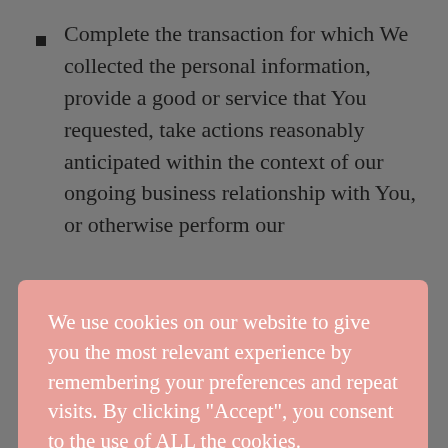Complete the transaction for which We collected the personal information, provide a good or service that You requested, take actions reasonably anticipated within the context of our ongoing business relationship with You, or otherwise perform our contract with You.
[Figure (other): Cookie consent overlay banner with pink background. Contains text: 'We use cookies on our website to give you the most relevant experience by remembering your preferences and repeat visits. By clicking "Accept", you consent to the use of ALL the cookies.' Two buttons: 'Cookie settings' (underlined text) and 'ACCEPT' (green button).]
Debug products to identify and repair errors that impair existing intended functionality.
Exercise free speech, ensure the right of another consumer to exercise their free speech rights, or exercise another right provided for by law.